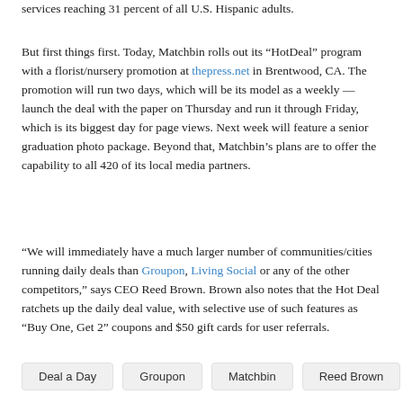services reaching 31 percent of all U.S. Hispanic adults.
But first things first. Today, Matchbin rolls out its “HotDeal” program with a florist/nursery promotion at thepress.net in Brentwood, CA. The promotion will run two days, which will be its model as a weekly — launch the deal with the paper on Thursday and run it through Friday, which is its biggest day for page views. Next week will feature a senior graduation photo package. Beyond that, Matchbin’s plans are to offer the capability to all 420 of its local media partners.
“We will immediately have a much larger number of communities/cities running daily deals than Groupon, Living Social or any of the other competitors,” says CEO Reed Brown. Brown also notes that the Hot Deal ratchets up the daily deal value, with selective use of such features as “Buy One, Get 2” coupons and $50 gift cards for user referrals.
Deal a Day
Groupon
Matchbin
Reed Brown